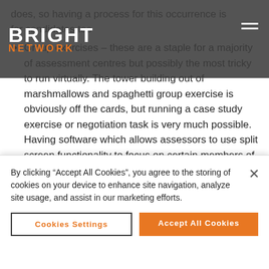Bright Network
does, so having a process for this occurrence is for candidates too
Group exercises – these are a staple for a majority of assessment centres but possibly the most tricky to run virtually. The tower building out of marshmallows and spaghetti group exercise is obviously off the cards, but running a case study exercise or negotiation task is very much possible. Having software which allows assessors to use split screen functionality to focus on certain members of groups is often a good way to ensure standardised and in depth assessment.
By clicking "Accept All Cookies", you agree to the storing of cookies on your device to enhance site navigation, analyze site usage, and assist in our marketing efforts.
Cookies Settings | Accept All Cookies